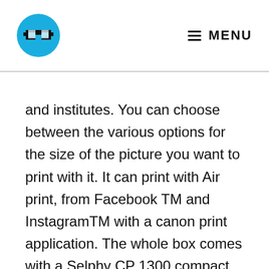MENU
and institutes. You can choose between the various options for the size of the picture you want to print with it. It can print with Air print, from Facebook TM and InstagramTM with a canon print application. The whole box comes with a Selphy CP 1300 compact printer, Compact Power Adapter, Paper Cassette, and sample ink/paper.
With this printer's help, not only are pictures instantly dry, but they look great even for years